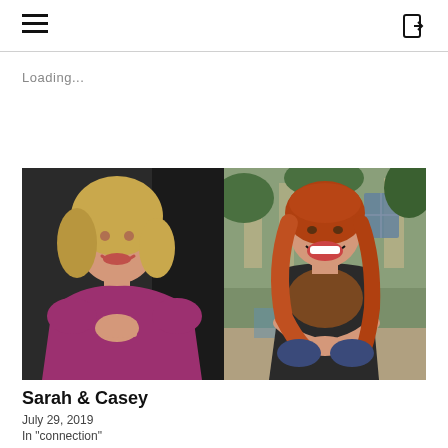≡  [←
Loading...
[Figure (photo): Two side-by-side portrait photos: left shows a blonde woman in a magenta/purple sweater smiling, right shows a red-haired woman laughing while seated outdoors]
Sarah & Casey
July 29, 2019
In "connection"